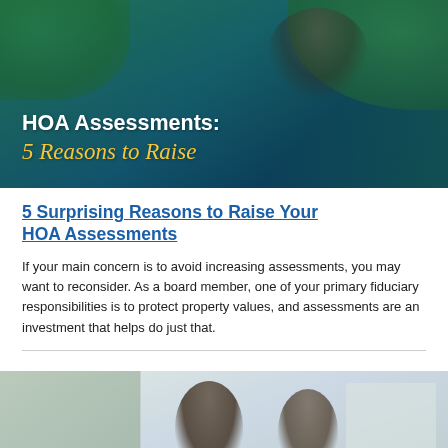[Figure (photo): Hero banner image showing a landscaper/worker with green foliage background. Overlaid text reads 'HOA Assessments: 5 Reasons to Raise' with white bold title text and gold cursive subtitle text on a teal/dark green gradient background.]
5 Surprising Reasons to Raise Your HOA Assessments
If your main concern is to avoid increasing assessments, you may want to reconsider. As a board member, one of your primary fiduciary responsibilities is to protect property values, and assessments are an investment that helps do just that.
[Figure (photo): Photo of two people (likely HOA board members or homeowners) viewed from behind, sitting and looking at documents or a screen, with a bright/light indoor background.]